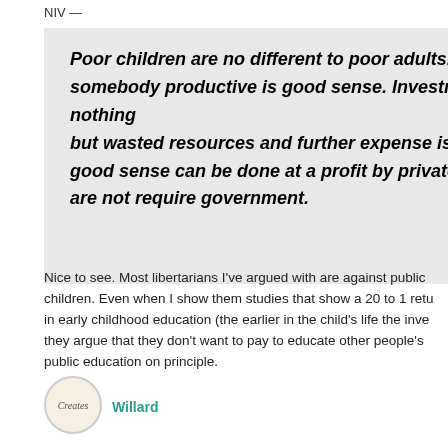NIV —
Poor children are no different to poor adults. Investing in somebody productive is good sense. Investment in nothing but wasted resources and further expense is not good sense can be done at a profit by private business are not require government.
Nice to see. Most libertarians I've argued with are against public children. Even when I show them studies that show a 20 to 1 return in early childhood education (the earlier in the child's life the investment) they argue that they don't want to pay to educate other people's children, public education on principle.
Willard